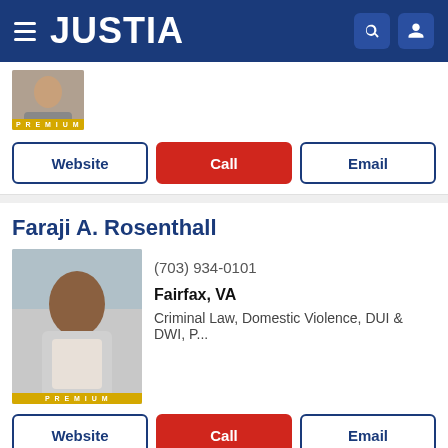JUSTIA
[Figure (screenshot): Partial attorney photo with PREMIUM badge]
Website | Call | Email
Faraji A. Rosenthall
[Figure (photo): Professional headshot of Faraji A. Rosenthall with PREMIUM badge]
(703) 934-0101
Fairfax, VA
Criminal Law, Domestic Violence, DUI & DWI, P...
Website | Call | Email
Gary Brooks Mims
[Figure (photo): Professional headshot of Gary Brooks Mims]
(703) 925-0500
Fairfax, VA